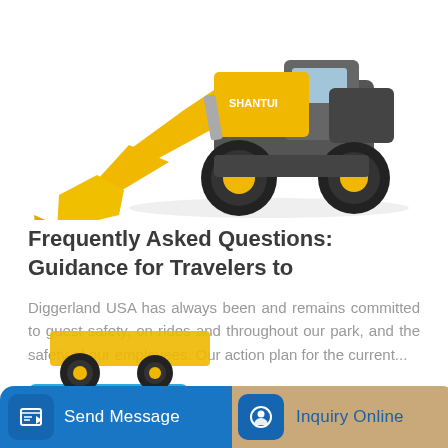[Figure (photo): Yellow Shantui wheel loader construction machine on white background]
Frequently Asked Questions: Guidance for Travelers to
Diggerland USA has always been and remains committed to guest safety, on rides and throughout our park, and the safety of our employees. Our action plan for the current...
[Figure (other): Learn More button - blue rounded rectangle]
[Figure (other): Bottom bar with Send Message button (blue) and Inquiry Online button (tan/gold), with partial yellow machine image behind]